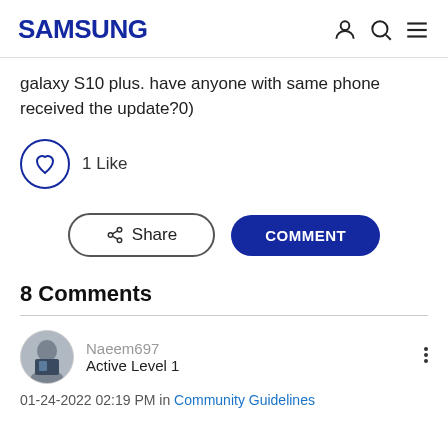SAMSUNG
galaxy S10 plus. have anyone with same phone received the update?0)
1 Like
Share   COMMENT
8 Comments
Naeem697
Active Level 1
01-24-2022 02:19 PM in Community Guidelines